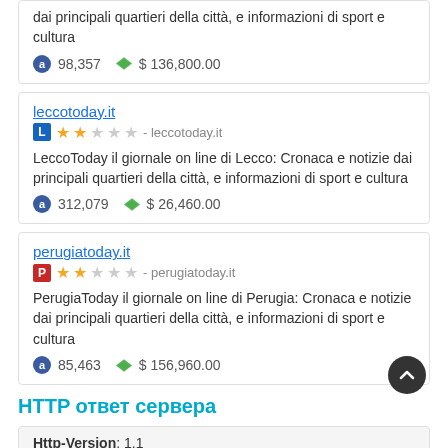dai principali quartieri della città, e informazioni di sport e cultura
98,357   $ 136,800.00
leccotoday.it
★★☆☆☆ - leccotoday.it
LeccoToday il giornale on line di Lecco: Cronaca e notizie dai principali quartieri della città, e informazioni di sport e cultura
312,079   $ 26,460.00
perugiatoday.it
★★☆☆☆ - perugiatoday.it
PerugiaToday il giornale on line di Perugia: Cronaca e notizie dai principali quartieri della città, e informazioni di sport e cultura
85,463   $ 156,960.00
HTTP ответ сервера
Http-Version: 1.1